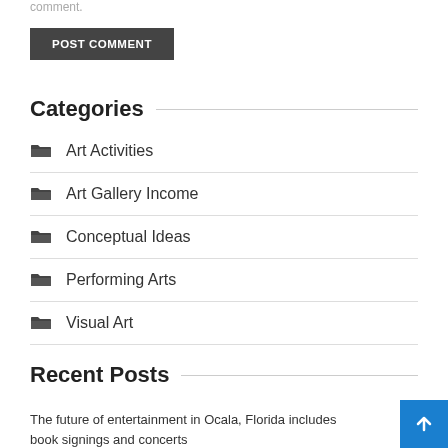comment.
POST COMMENT
Categories
Art Activities
Art Gallery Income
Conceptual Ideas
Performing Arts
Visual Art
Recent Posts
The future of entertainment in Ocala, Florida includes book signings and concerts